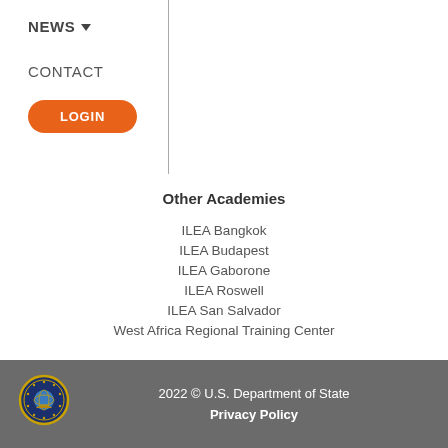NEWS ▾
CONTACT
LOGIN
Other Academies
ILEA Bangkok
ILEA Budapest
ILEA Gaborone
ILEA Roswell
ILEA San Salvador
West Africa Regional Training Center
ILEA Global Network
ILEA Alumni Portal
2022 © U.S. Department of State  Privacy Policy